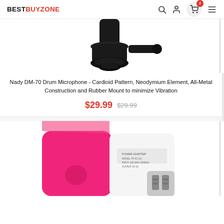BESTBUYZONE
[Figure (photo): Bottom portion of a black drum microphone mount/clip on white background]
Nady DM-70 Drum Microphone - Cardioid Pattern, Neodymium Element, All-Metal Construction and Rubber Mount to minimize Vibration
$29.99  $29.99
[Figure (photo): Pink and white USB power adapter/wall charger with US plug prongs visible on white background]